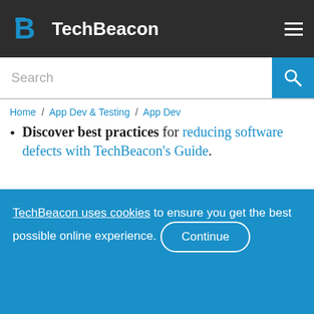TechBeacon
Search
Home / App Dev & Testing / App Dev
Discover best practices for reducing software defects with TechBeacon's Guide.
Take your testing career to the next level. TechBeacon's Careers Guide
TechBeacon uses cookies to ensure you get the best possible online experience. Continue